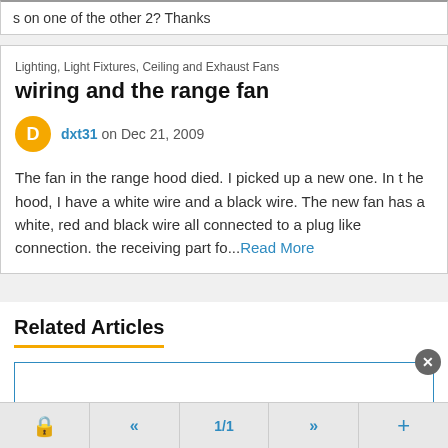s on one of the other 2? Thanks
Lighting, Light Fixtures, Ceiling and Exhaust Fans
wiring and the range fan
dxt31 on Dec 21, 2009
The fan in the range hood died. I picked up a new one. In the hood, I have a white wire and a black wire. The new fan has a white, red and black wire all connected to a plug like connection. the receiving part fo...Read More
Related Articles
🔒  «  1/1  »  +